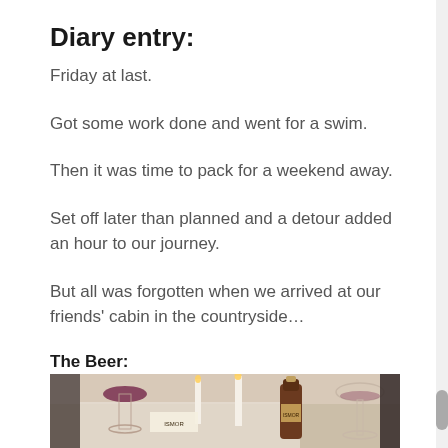Diary entry:
Friday at last.
Got some work done and went for a swim.
Then it was time to pack for a weekend away.
Set off later than planned and a detour added an hour to our journey.
But all was forgotten when we arrived at our friends' cabin in the countryside…
The Beer:
[Figure (photo): Photo of a dinner table scene with wine glasses, candles, a beer bottle, and table settings at a cabin gathering.]